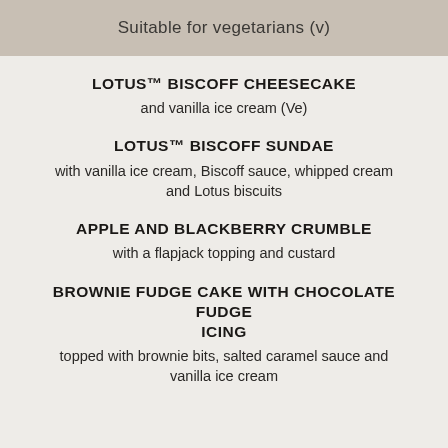Suitable for vegetarians (v)
LOTUS™ BISCOFF CHEESECAKE
and vanilla ice cream (Ve)
LOTUS™ BISCOFF SUNDAE
with vanilla ice cream, Biscoff sauce, whipped cream and Lotus biscuits
APPLE AND BLACKBERRY CRUMBLE
with a flapjack topping and custard
BROWNIE FUDGE CAKE WITH CHOCOLATE FUDGE ICING
topped with brownie bits, salted caramel sauce and vanilla ice cream